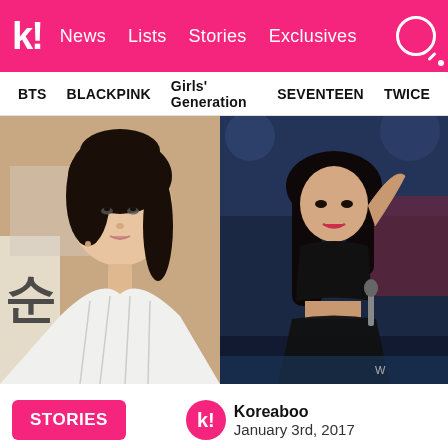k! News Lists Stories Exclusives
BTS  BLACKPINK  Girls' Generation  SEVENTEEN  TWICE
[Figure (photo): Two side-by-side photos: left shows a young East Asian woman with short dark hair wearing a white strapless dress at what appears to be a press event with Korean text in the background; right shows a female K-pop performer with long dark hair wearing a black crop top and skirt performing on stage with colorful stage lighting.]
STORIES
Koreaboo
January 3rd, 2017